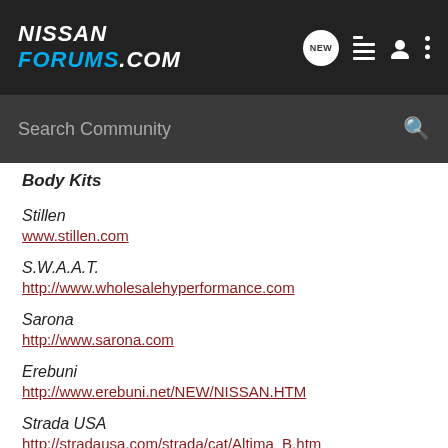NISSAN FORUMS.COM — navigation header with NEW, list, user, menu icons
Search Community
Body Kits
Stillen
www.stillen.com
S.W.A.A.T.
http://www.wholesalehyperformance.com
Sarona
http://www.sarona.com
Erebuni
http://www.erebuni.net/NEW/NISSAN.HTM
Strada USA
http://stradausa.com/strada/cat/Altima_B.htm